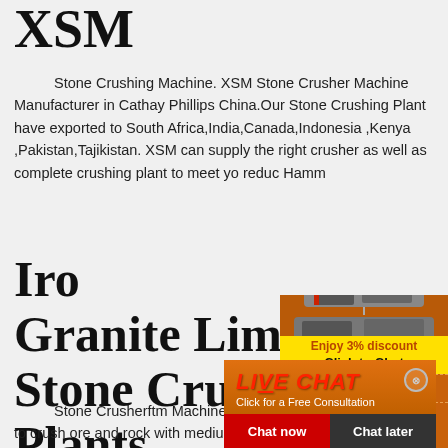XSM
Stone Crushing Machine. XSM Stone Crusher Machine Manufacturer in Cathay Phillips China.Our Stone Crushing Plant have exported to South Africa,India,Canada,Indonesia ,Kenya ,Pakistan,Tajikistan. XSM can supply the right crusher as well as complete crushing plant to meet your needs. size reduction, Jaw crusher, Cone crusher, Impact crusher, Hammer crusher and many more.
Iron Ore Granite Limestone Stone Crushing Plants ...
[Figure (photo): Workers in yellow hard hats smiling, with a live chat popup overlay showing 'LIVE CHAT - Click for a Free Consultation' and Chat now / Chat later buttons]
[Figure (photo): Orange sidebar with stone crushing machinery images, Enjoy 3% discount / Click to Chat, Enquiry, limingjlmofen@sina.com contact details]
Stone Crusherftm Machinery. Cone crusher is used to crush ore and rock with medium and above hardness below 350 MB, and it has many advantages such as ...